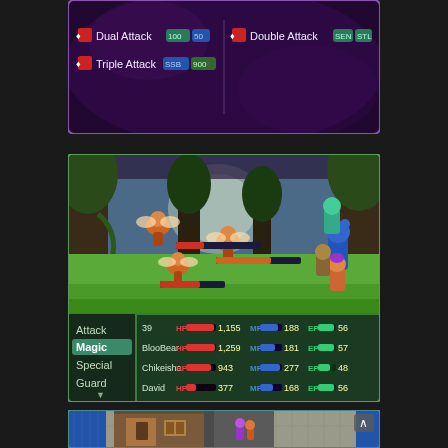[Figure (screenshot): RPG skill menu showing Dual Attack, Triple Attack on left panel and Double Attack on right panel, with teal cost badges, set against purple/dark fantasy background.]
[Figure (screenshot): RPG battle scene: fairy-type enemies with HP bars (depleted orange/red bars) in a green forest with large trees and moon glow. Party of 4 on right side. Battle UI below shows Attack/Magic/Special/Guard menu and 4 characters: unnamed (39, HP 1155, MP 188, EP 56), BlooBear (HP 1259, MP 181, EP 57), Chikeisha (HP 943, MP 277, EP 48), David (HP 377, MP 168, EP 56).]
[Figure (screenshot): Top-down RPG town map view showing stone floor tiles, wooden building/door, water on left and right sides, and two small character sprites (purple and orange) walking near a building.]